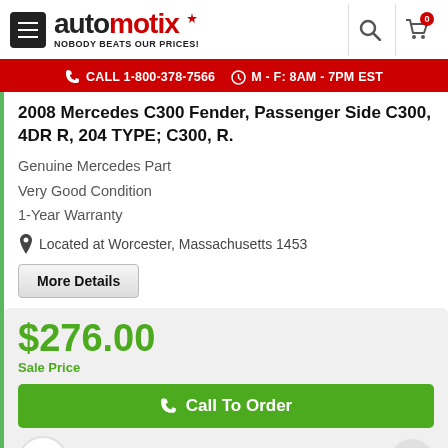[Figure (logo): Automotix logo with hamburger menu, search icon, and cart icon with badge 0]
CALL 1-800-378-7566   M - F: 8AM - 7PM EST
2008 Mercedes C300 Fender, Passenger Side C300, 4DR R, 204 TYPE; C300, R.
Genuine Mercedes Part
Very Good Condition
1-Year Warranty
Located at Worcester, Massachusetts 1453
More Details
$276.00
Sale Price
Call To Order
ting at $25/mo with affirm